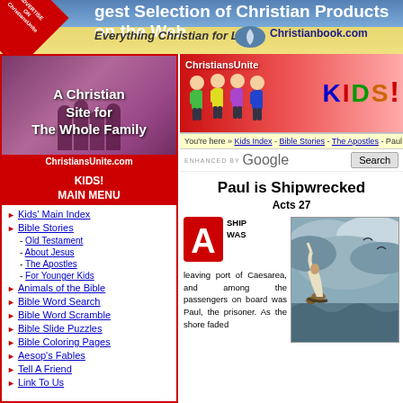[Figure (screenshot): ChristiansUnite top banner: largest selection of Christian products on the web, Christianbook.com advertisement]
[Figure (screenshot): Left sidebar banner: A Christian Site for The Whole Family - ChristiansUnite.com]
KIDS! MAIN MENU
Kids' Main Index
Bible Stories
- Old Testament
- About Jesus
- The Apostles
- For Younger Kids
Animals of the Bible
Bible Word Search
Bible Word Scramble
Bible Slide Puzzles
Bible Coloring Pages
Aesop's Fables
Tell A Friend
Link To Us
[Figure (screenshot): ChristiansUnite KIDS! logo banner with cartoon children]
You're here » Kids Index - Bible Stories - The Apostles - Paul is S...
ENHANCED BY Google [Search]
Paul is Shipwrecked
Acts 27
A SHIP WAS leaving port of Caesarea, and among the passengers on board was Paul, the prisoner. As the shore faded